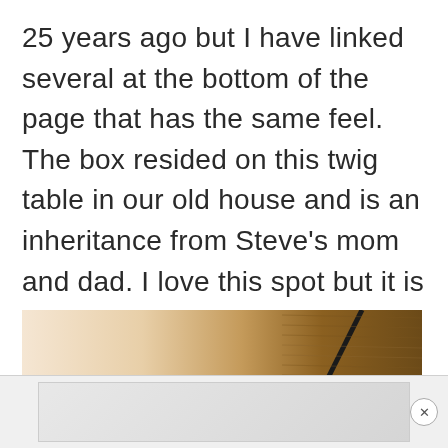25 years ago but I have linked several at the bottom of the page that has the same feel. The box resided on this twig table in our old house and is an inheritance from Steve's mom and dad. I love this spot but it is really hard to photograph.
[Figure (photo): Partial photograph of a wooden twig table with a decorative box, warm tones of cream and brown]
[Figure (screenshot): Advertisement banner at the bottom of the page with a close (X) button]